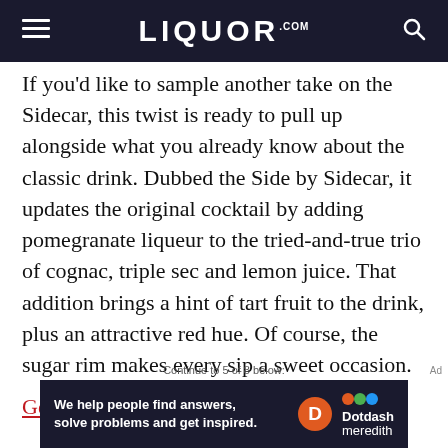LIQUOR.COM
If you'd like to sample another take on the Sidecar, this twist is ready to pull up alongside what you already know about the classic drink. Dubbed the Side by Sidecar, it updates the original cocktail by adding pomegranate liqueur to the tried-and-true trio of cognac, triple sec and lemon juice. That addition brings a hint of tart fruit to the drink, plus an attractive red hue. Of course, the sugar rim makes every sip a sweet occasion.
Get the recipe.
Continue to 5 of 8 below:
[Figure (logo): Dotdash Meredith advertisement banner with text: We help people find answers, solve problems and get inspired.]